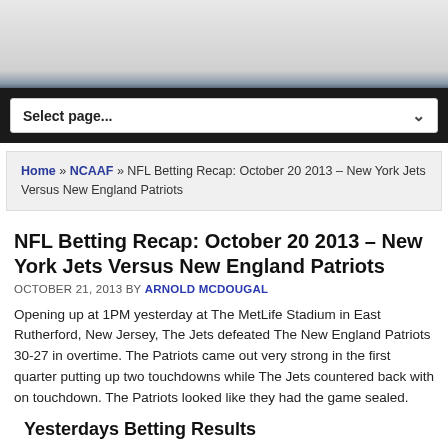Select page...
Home » NCAAF » NFL Betting Recap: October 20 2013 – New York Jets Versus New England Patriots
NFL Betting Recap: October 20 2013 – New York Jets Versus New England Patriots
OCTOBER 21, 2013 BY ARNOLD MCDOUGAL
Opening up at 1PM yesterday at The MetLife Stadium in East Rutherford, New Jersey, The Jets defeated The New England Patriots 30-27 in overtime. The Patriots came out very strong in the first quarter putting up two touchdowns while The Jets countered back with on touchdown. The Patriots looked like they had the game sealed.
Yesterdays Betting Results
The people that bet on The NY Jets were victorious as they covered the spread as the underdog. The Total Bettors that wagered on the over were in the money as the total closed at 43.5 at the best NFL Betting